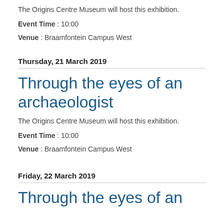The Origins Centre Museum will host this exhibition.
Event Time : 10:00
Venue : Braamfontein Campus West
Thursday, 21 March 2019
Through the eyes of an archaeologist
The Origins Centre Museum will host this exhibition.
Event Time : 10:00
Venue : Braamfontein Campus West
Friday, 22 March 2019
Through the eyes of an